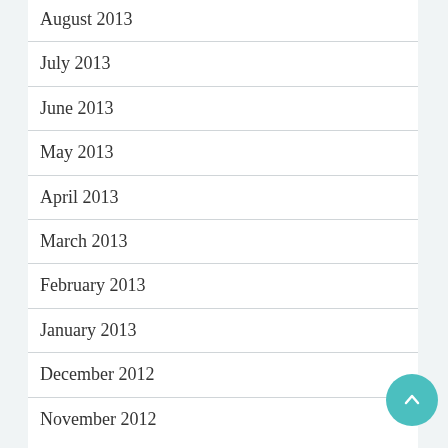August 2013
July 2013
June 2013
May 2013
April 2013
March 2013
February 2013
January 2013
December 2012
November 2012